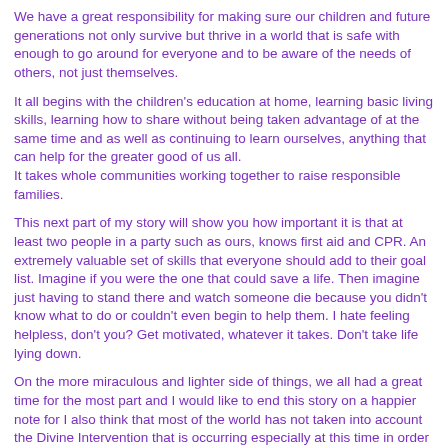We have a great responsibility for making sure our children and future generations not only survive but thrive in a world that is safe with enough to go around for everyone and to be aware of the needs of others, not just themselves.
It all begins with the children's education at home, learning basic living skills, learning how to share without being taken advantage of at the same time and as well as continuing to learn ourselves, anything that can help for the greater good of us all.
It takes whole communities working together to raise responsible families.
This next part of my story will show you how important it is that at least two people in a party such as ours, knows first aid and CPR. An extremely valuable set of skills that everyone should add to their goal list. Imagine if you were the one that could save a life. Then imagine just having to stand there and watch someone die because you didn't know what to do or couldn't even begin to help them. I hate feeling helpless, don't you? Get motivated, whatever it takes. Don't take life lying down.
On the more miraculous and lighter side of things, we all had a great time for the most part and I would like to end this story on a happier note for I also think that most of the world has not taken into account the Divine Intervention that is occurring especially at this time in order to avoid an Armageddon style timeline agenda. Becoming One with the Divine can and will change the world.
Don't neglect your Spirituality as this is what's wrong with the world.
The second day, little five year old Jacob was playing on the slippery mossy rocks. We kept warning him to slow down, stop jumping and had to